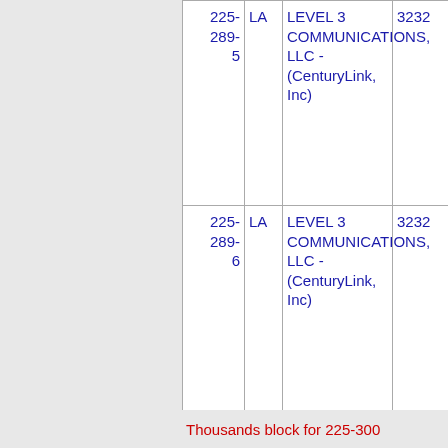| Number | State | Name | Code |
| --- | --- | --- | --- |
| 225-289-5 | LA | LEVEL 3 COMMUNICATIONS, LLC - (CenturyLink, Inc) | 3232 |
| 225-289-6 | LA | LEVEL 3 COMMUNICATIONS, LLC - (CenturyLink, Inc) | 3232 |
Thousands block for 225-300